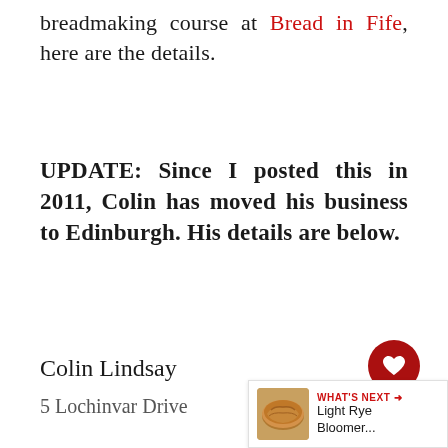breadmaking course at Bread in Fife, here are the details.
UPDATE: Since I posted this in 2011, Colin has moved his business to Edinburgh. His details are below.
Colin Lindsay
5 Lochinvar Drive
[Figure (infographic): Heart/like button (dark red circle with white heart icon), like count 29, and share button (light grey circle with share icon)]
[Figure (infographic): What's Next panel with bread photo thumbnail, label 'WHAT'S NEXT →', and title 'Light Rye Bloomer...']